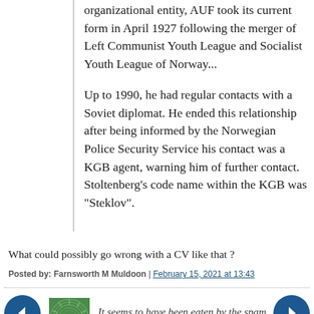organizational entity, AUF took its current form in April 1927 following the merger of Left Communist Youth League and Socialist Youth League of Norway...
Up to 1990, he had regular contacts with a Soviet diplomat. He ended this relationship after being informed by the Norwegian Police Security Service his contact was a KGB agent, warning him of further contact. Stoltenberg's code name within the KGB was "Steklov".
What could possibly go wrong with a CV like that ?
Posted by: Farnsworth M Muldoon | February 15, 2021 at 13:43
[Figure (other): Navigation arrows left and right in dark blue circles, and a green spiral/sunburst thumbnail image]
It seems to have been eaten by the spam filter.